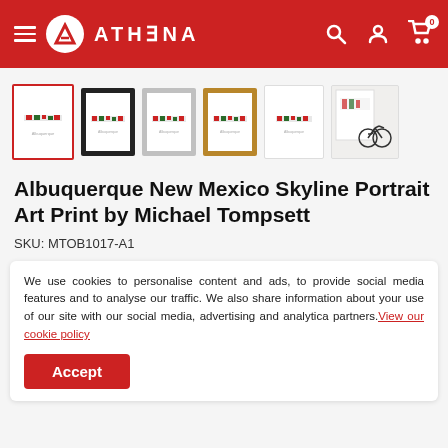ATHENA
[Figure (photo): Product thumbnail strip showing 6 views of Albuquerque New Mexico Skyline Portrait Art Print: white frame (selected, red border), black frame, silver/grey frame, wood/gold frame, unframed, and lifestyle room photo with bicycle]
Albuquerque New Mexico Skyline Portrait Art Print by Michael Tompsett
SKU: MTOB1017-A1
We use cookies to personalise content and ads, to provide social media features and to analyse our traffic. We also share information about your use of our site with our social media, advertising and analytica partners. View our cookie policy
Accept